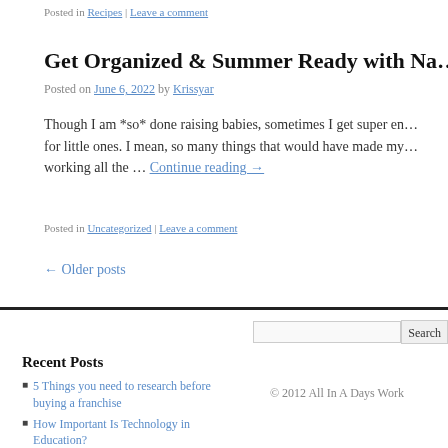Posted in Recipes | Leave a comment
Get Organized & Summer Ready with Na…
Posted on June 6, 2022 by Krissyar
Though I am *so* done raising babies, sometimes I get super en… for little ones. I mean, so many things that would have made my… working all the … Continue reading →
Posted in Uncategorized | Leave a comment
← Older posts
Recent Posts
5 Things you need to research before buying a franchise
How Important Is Technology in Education?
© 2012 All In A Days Work